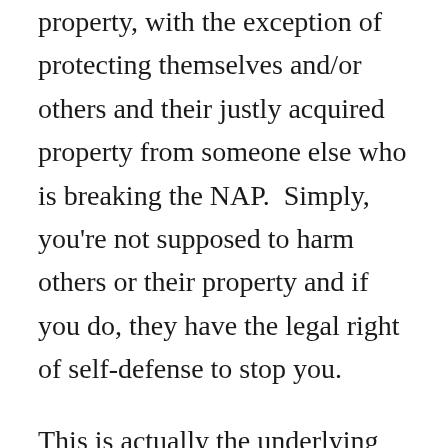property, with the exception of protecting themselves and/or others and their justly acquired property from someone else who is breaking the NAP. Simply, you're not supposed to harm others or their property and if you do, they have the legal right of self-defense to stop you.
This is actually the underlying basis of most modern-day legal systems in our world. So of course, you believe in it,